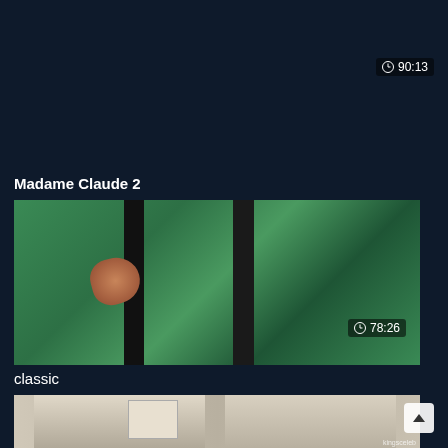90:13
Madame Claude 2
[Figure (screenshot): Video thumbnail showing green embossed/textured fabric or wallpaper with dark strips and a partial view of a hand or object on the left side]
78:26
classic
[Figure (screenshot): Partial video thumbnail showing people in a room, one facing away and one facing forward, with a watermark reading kingsceleb]
kingsceleb